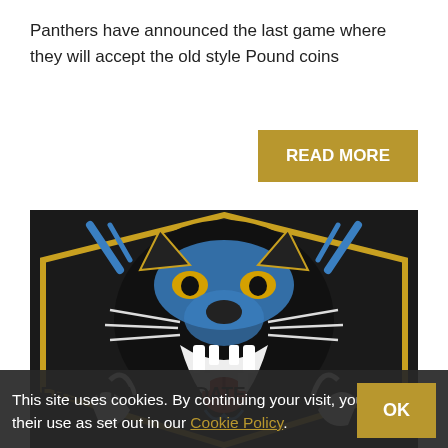Panthers have announced the last game where they will accept the old style Pound coins
READ MORE
[Figure (photo): Close-up of a Panthers team logo showing a fierce panther face with open jaws, blue face markings, yellow eyes, white fangs, and red mouth detail on a dark background with gold border elements]
JERSEY LAUNCH DATE AND EVENT ANNOUNCED
This site uses cookies. By continuing your visit, you accept their use as set out in our Cookie Policy.